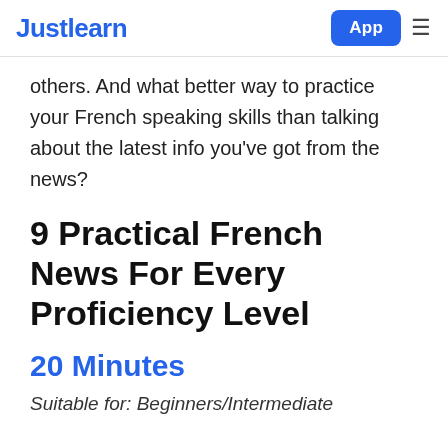Justlearn  App ≡
others. And what better way to practice your French speaking skills than talking about the latest info you've got from the news?
9 Practical French News For Every Proficiency Level
20 Minutes
Suitable for: Beginners/Intermediate